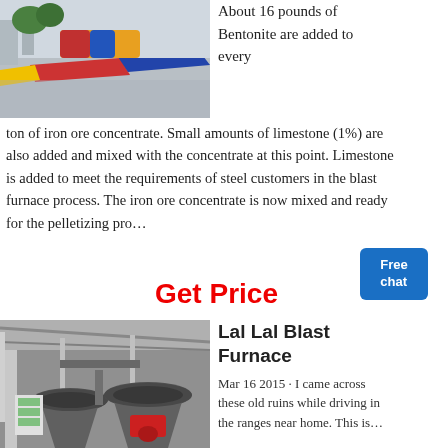[Figure (photo): Indoor scene with colorful striped floor markings in red, blue, and yellow on a grey concrete floor, with plants visible in background]
About 16 pounds of Bentonite are added to every ton of iron ore concentrate. Small amounts of limestone (1%) are also added and mixed with the concentrate at this point. Limestone is added to meet the requirements of steel customers in the blast furnace process. The iron ore concentrate is now mixed and ready for the pelletizing proc…
Get Price
[Figure (photo): Industrial machinery — large grey cone crushers or similar heavy equipment under a metal-roofed industrial building]
Lal Lal Blast Furnace
Mar 16 2015 · I came across these old ruins while driving in the ranges near home. This is…